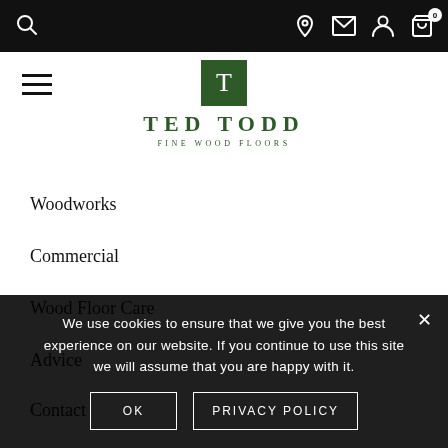Ted Todd Fine Wood Floors navigation bar with icons for search, location, mail, account, and cart (0)
[Figure (logo): Ted Todd Fine Wood Floors logo — green square with T, brand name TED TODD in dark green serif, subtitle FINE WOOD FLOORS]
Woodworks
Commercial
Wood Floor Care
Advice
Contact
We use cookies to ensure that we give you the best experience on our website. If you continue to use this site we will assume that you are happy with it.
OK   PRIVACY POLICY